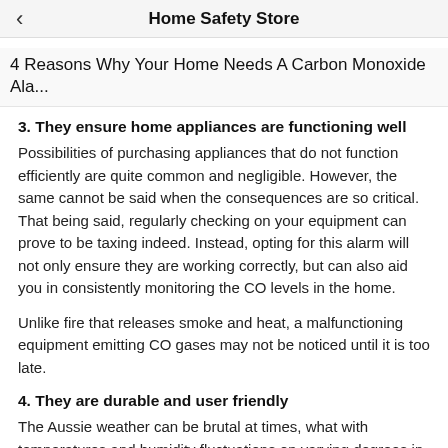Home Safety Store
4 Reasons Why Your Home Needs A Carbon Monoxide Ala...
3. They ensure home appliances are functioning well
Possibilities of purchasing appliances that do not function efficiently are quite common and negligible. However, the same cannot be said when the consequences are so critical. That being said, regularly checking on your equipment can prove to be taxing indeed. Instead, opting for this alarm will not only ensure they are working correctly, but can also aid you in consistently monitoring the CO levels in the home.
Unlike fire that releases smoke and heat, a malfunctioning equipment emitting CO gases may not be noticed until it is too late.
4. They are durable and user friendly
The Aussie weather can be brutal at times, what with temperatures and humidity fluctuations on varying degrees in a week. CO alarms are designed to withstand any harsh climate dished out. This means that a continuous monitoring of the CO levels in the home will occur no matter the external or even the internal environment.
The durability of this product is known to even withstand constant air conditioning. Despite being battery operated which may be concerning for some users, CO alarms are actually equipped with the ability to